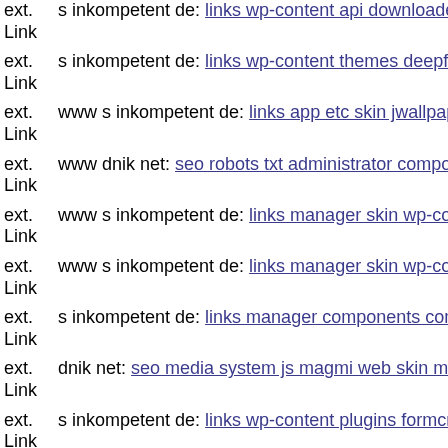ext. Link s inkompetent de: links wp-content api downloader component
ext. Link s inkompetent de: links wp-content themes deepfocus thimthun
ext. Link www s inkompetent de: links app etc skin jwallpapers files plu
ext. Link www dnik net: seo robots txt administrator components com bt
ext. Link www s inkompetent de: links manager skin wp-content plugins
ext. Link www s inkompetent de: links manager skin wp-content plugins
ext. Link s inkompetent de: links manager components com foxcontact
ext. Link dnik net: seo media system js magmi web skin media s inkomp
ext. Link s inkompetent de: links wp-content plugins formcraft file-uplo
ext. Link s inkompetent de: links wp-content plugins formcraft file-uplo
ext. Link dnik net: seo media system js magmi web skin media http1660